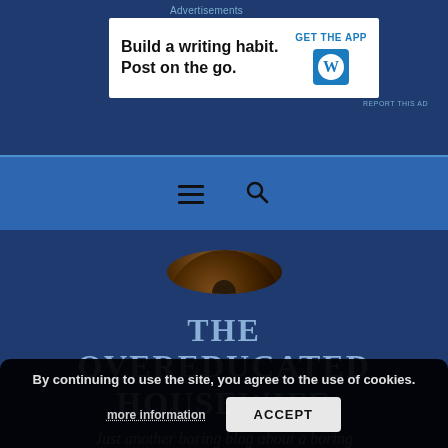Advertisements
[Figure (screenshot): Advertisement banner: 'Build a writing habit. Post on the go.' with GET THE APP call to action and WordPress logo]
REPORT THIS AD
[Figure (other): Navigation bar with hamburger menu icon and search icon on blue background]
[Figure (photo): Circular profile photo of a person in dark clothing against dark background]
THE OVEREDUCATED HOUSEWIFE
Just another boring blog about a boring
By continuing to use the site, you agree to the use of cookies. more information ACCEPT